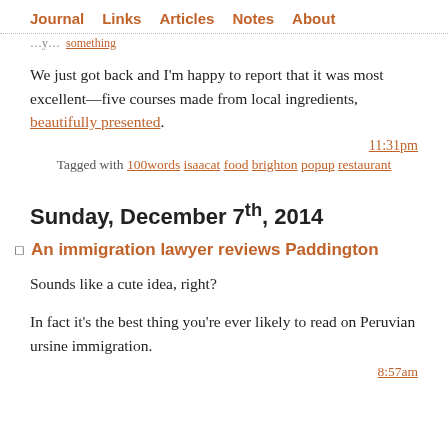Journal  Links  Articles  Notes  About
We just got back and I'm happy to report that it was most excellent—five courses made from local ingredients, beautifully presented.
11:31pm
Tagged with 100words isaacat food brighton popup restaurant
Sunday, December 7th, 2014
An immigration lawyer reviews Paddington
Sounds like a cute idea, right?
In fact it's the best thing you're ever likely to read on Peruvian ursine immigration.
8:57am